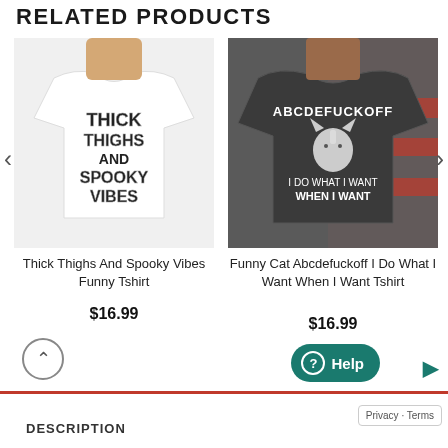RELATED PRODUCTS
[Figure (photo): White t-shirt with 'THICK THIGHS AND SPOOKY VIBES' text print, modeled by person against white background]
Thick Thighs And Spooky Vibes Funny Tshirt
$16.99
[Figure (photo): Dark grey t-shirt with 'ABCDEFUCKOFF' and cat graphic plus 'I DO WHAT I WANT WHEN I WANT' text, modeled by woman against American flag background]
Funny Cat Abcdefuckoff I Do What I Want When I Want Tshirt
$16.99
DESCRIPTION